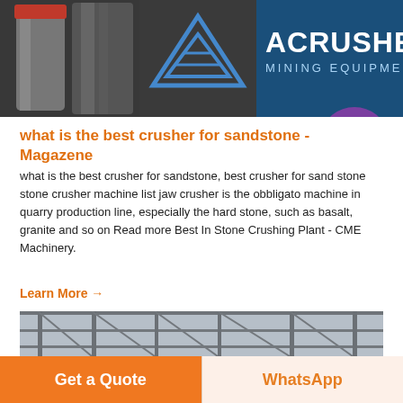[Figure (photo): ACrusher mining equipment banner with crusher machinery on left, triangle logo in center, and blue banner with ACRUSHER MINING EQUIPMENT text on right. Live chat bubble in top-right corner.]
what is the best crusher for sandstone - Magazene
what is the best crusher for sandstone, best crusher for sand stone stone crusher machine list jaw crusher is the obbligato machine in quarry production line, especially the hard stone, such as basalt, granite and so on Read more Best In Stone Crushing Plant - CME Machinery.
Learn More →
[Figure (photo): Photo of a steel/metal framework structure or scaffolding against a cloudy sky]
Get a Quote
WhatsApp